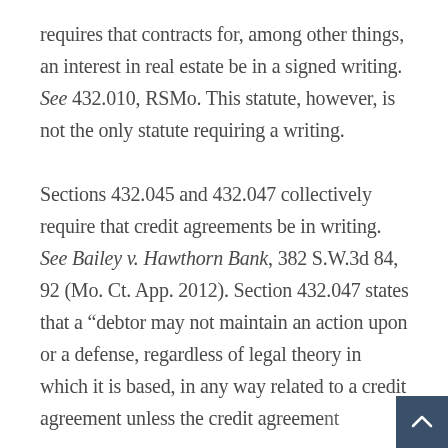requires that contracts for, among other things, an interest in real estate be in a signed writing. See 432.010, RSMo. This statute, however, is not the only statute requiring a writing. Sections 432.045 and 432.047 collectively require that credit agreements be in writing. See Bailey v. Hawthorn Bank, 382 S.W.3d 84, 92 (Mo. Ct. App. 2012). Section 432.047 states that a “debtor may not maintain an action upon or a defense, regardless of legal theory in which it is based, in any way related to a credit agreement unless the credit agreement